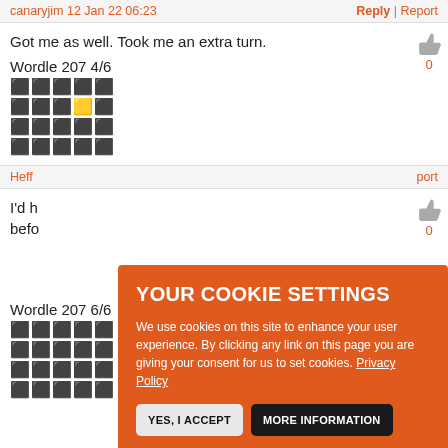canaryjim 12 Jan 22 06:23 | Reply | Report
Got me as well. Took me an extra turn.
Wordle 207 4/6
⬛⬛⬛⬛⬛
⬛⬛⬛🟨⬛
⬛⬛⬛⬛⬛
⬛⬛⬛⬛⬛
Heff... | port
I'd h... befo...
Wordle 207 6/6
⬛⬛⬛⬛⬛
⬛⬛⬛⬛⬛
⬛⬛⬛⬛⬛
⬛⬛⬛⬛⬛
[Figure (screenshot): Cookie consent popup with orange background. Title: YOUR COOKIE SETTINGS. Body: We use cookies on this site to enhance your user experience. By clicking any link on this page you are giving your consent for us to set cookies. Privacy Policy. Buttons: YES, I ACCEPT and MORE INFORMATION.]